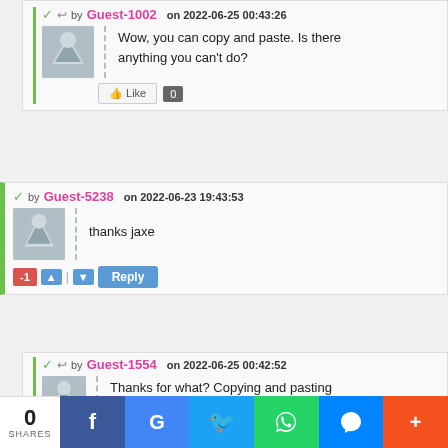by Guest-1002 on 2022-06-25 00:43:26
Wow, you can copy and paste. Is there anything you can't do?
Like 0
by Guest-5238 on 2022-06-23 19:43:53
thanks jaxe
-1 Reply
by Guest-1554 on 2022-06-25 00:42:52
Thanks for what? Copying and pasting from Wikipedia?
0 SHARES